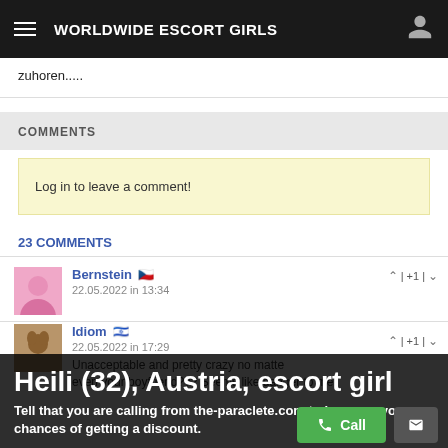WORLDWIDE ESCORT GIRLS
zuhoren.....
COMMENTS
Log in to leave a comment!
23 COMMENTS
Bernstein  22.05.2022 in 13:34
Idiom  22.05.2022 in 17:29  Unacceptable and pretty crazy no matter... even your boyfriend??? Seems like danger to me
Heili (32), Austria, escort girl
Tell that you are calling from the-paraclete.com to increase your chances of getting a discount.